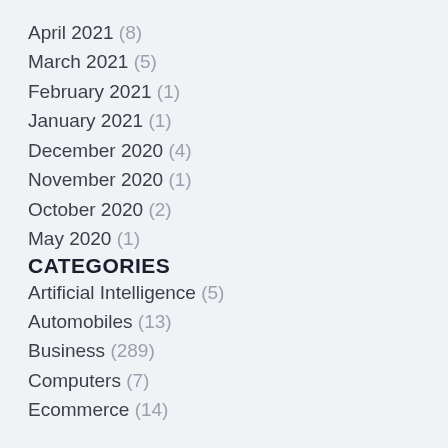April 2021 (8)
March 2021 (5)
February 2021 (1)
January 2021 (1)
December 2020 (4)
November 2020 (1)
October 2020 (2)
May 2020 (1)
CATEGORIES
Artificial Intelligence (5)
Automobiles (13)
Business (289)
Computers (7)
Ecommerce (14)